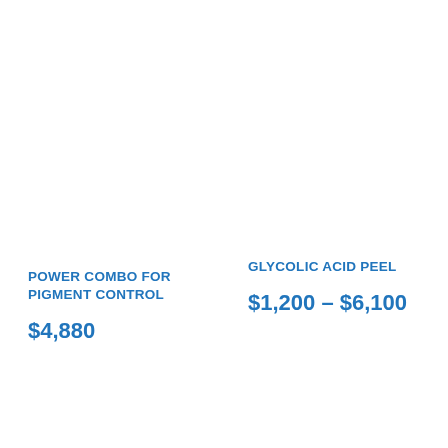POWER COMBO FOR PIGMENT CONTROL
$4,880
GLYCOLIC ACID PEEL
$1,200 – $6,100